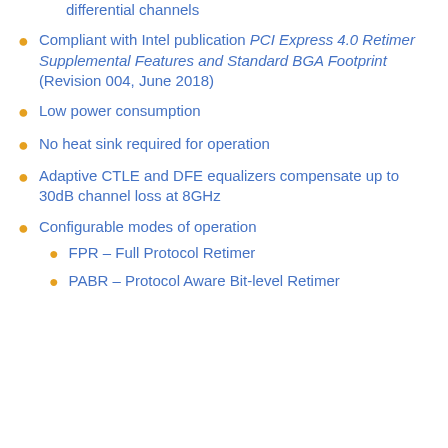differential channels
Compliant with Intel publication PCI Express 4.0 Retimer Supplemental Features and Standard BGA Footprint (Revision 004, June 2018)
Low power consumption
No heat sink required for operation
Adaptive CTLE and DFE equalizers compensate up to 30dB channel loss at 8GHz
Configurable modes of operation
FPR – Full Protocol Retimer
PABR – Protocol Aware Bit-level Retimer